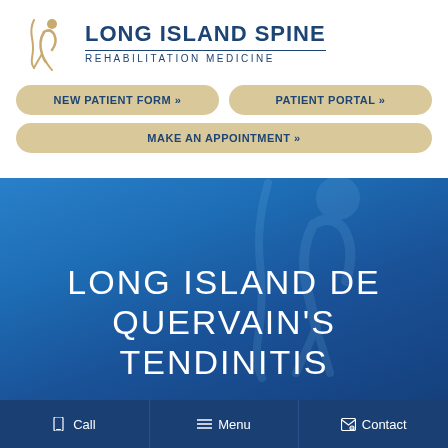[Figure (logo): Long Island Spine Rehabilitation Medicine logo with golden figure and navy text]
NEW PATIENT FORM »
PATIENT PORTAL »
MAKE AN APPOINTMENT »
LONG ISLAND DE QUERVAIN'S TENDINITIS
Call   Menu   Contact